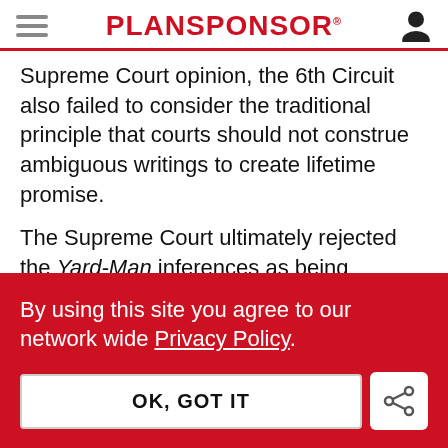PLANSPONSOR
Supreme Court opinion, the 6th Circuit also failed to consider the traditional principle that courts should not construe ambiguous writings to create lifetime promise.
The Supreme Court ultimately rejected the Yard-Man inferences as being consistent with ordinary
By using this site you agree to our network wide Privacy Policy.
OK, GOT IT